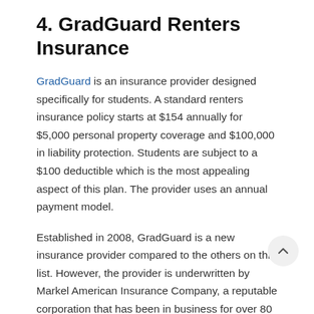4. GradGuard Renters Insurance
GradGuard is an insurance provider designed specifically for students. A standard renters insurance policy starts at $154 annually for $5,000 personal property coverage and $100,000 in liability protection. Students are subject to a $100 deductible which is the most appealing aspect of this plan. The provider uses an annual payment model.
Established in 2008, GradGuard is a new insurance provider compared to the others on this list. However, the provider is underwritten by Markel American Insurance Company, a reputable corporation that has been in business for over 80 years. This lends to their reliability. Several other insurance providers provide more comprehensive